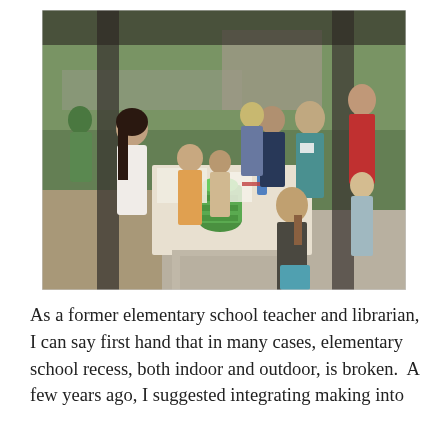[Figure (photo): Group of elementary school children and adult supervisors gathered around a table outdoors under a covered area, working on an activity. A large green bottle/container is visible on the table. Trees and playground equipment visible in background.]
As a former elementary school teacher and librarian, I can say first hand that in many cases, elementary school recess, both indoor and outdoor, is broken.  A few years ago, I suggested integrating making into